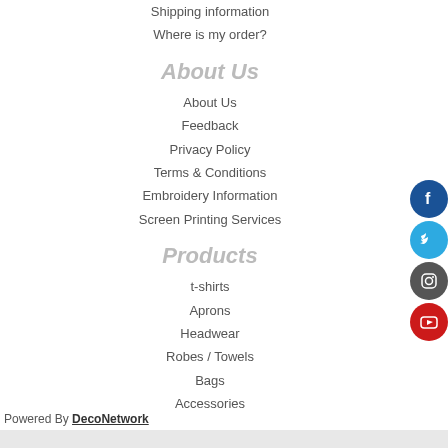Shipping information
Where is my order?
About Us
About Us
Feedback
Privacy Policy
Terms & Conditions
Embroidery Information
Screen Printing Services
Products
t-shirts
Aprons
Headwear
Robes / Towels
Bags
Accessories
Powered By DecoNetwork